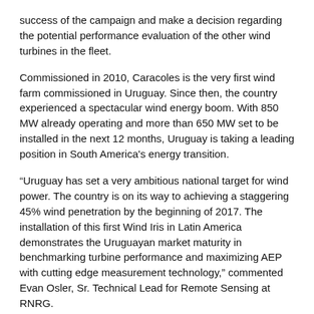success of the campaign and make a decision regarding the potential performance evaluation of the other wind turbines in the fleet.
Commissioned in 2010, Caracoles is the very first wind farm commissioned in Uruguay. Since then, the country experienced a spectacular wind energy boom. With 850 MW already operating and more than 650 MW set to be installed in the next 12 months, Uruguay is taking a leading position in South America's energy transition.
“Uruguay has set a very ambitious national target for wind power. The country is on its way to achieving a staggering 45% wind penetration by the beginning of 2017. The installation of this first Wind Iris in Latin America demonstrates the Uruguayan market maturity in benchmarking turbine performance and maximizing AEP with cutting edge measurement technology,” commented Evan Osler, Sr. Technical Lead for Remote Sensing at RNRG.
Caracoles presents moderately complex terrain and ambient turbine wakes, which means that proper filtering and data treatment is critical. Fortunately, the Wind Iris comes equipping...